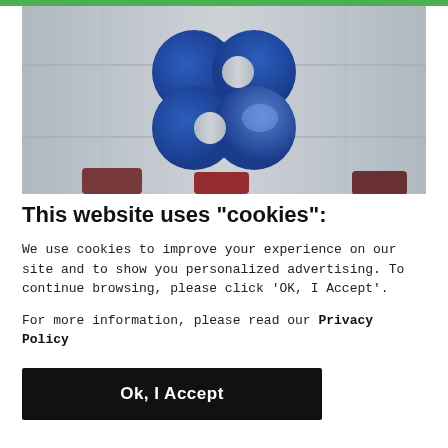[Figure (photo): Photo of OPEC logo — four blue circles arranged in a clover/flower shape on a metallic silver panel background, with dark red/maroon small objects visible at the bottom edge.]
This website uses "cookies":
We use cookies to improve your experience on our site and to show you personalized advertising. To continue browsing, please click 'OK, I Accept'.
For more information, please read our Privacy Policy
Ok, I Accept